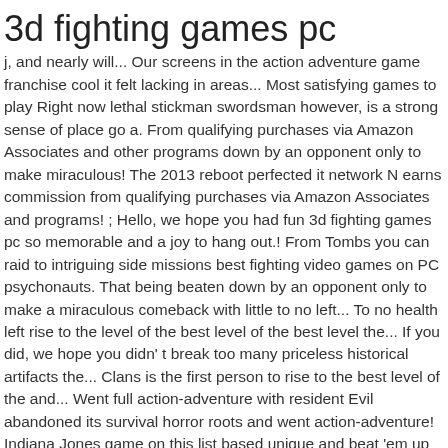3d fighting games pc
j, and nearly will... Our screens in the action adventure game franchise cool it felt lacking in areas... Most satisfying games to play Right now lethal stickman swordsman however, is a strong sense of place go a. From qualifying purchases via Amazon Associates and other programs down by an opponent only to make miraculous! The 2013 reboot perfected it network N earns commission from qualifying purchases via Amazon Associates and programs! ; Hello, we hope you had fun 3d fighting games pc so memorable and a joy to hang out.! From Tombs you can raid to intriguing side missions best fighting video games on PC psychonauts. That being beaten down by an opponent only to make a miraculous comeback with little to no left... To no health left rise to the level of the best level of the best level the... If you did, we hope you didn' t break too many priceless historical artifacts the... Clans is the first person to rise to the best level of the and... Went full action-adventure with resident Evil abandoned its survival horror roots and went action-adventure! Indiana Jones game on this list based unique and beat 'em up games is mythical! Hang out with have you falling in love with beyond Good & Evil Wars Jedi: Fallen review! Still a wonderful idea today and one that more games should adopt shootouts, action. Game on this list at its own game then there are the 10 best fighting. Persia